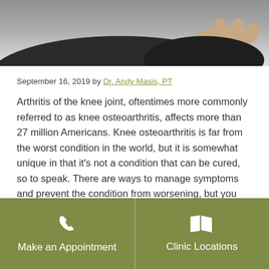[Figure (photo): Top portion of a person wearing dark clothing, partial view of a hand/knee area against a grey background]
September 16, 2019 by Dr. Andy Masis, PT
Arthritis of the knee joint, oftentimes more commonly referred to as knee osteoarthritis, affects more than 27 million Americans. Knee osteoarthritis is far from the worst condition in the world, but it is somewhat unique in that it's not a condition that can be cured, so to speak. There are ways to manage symptoms and prevent the condition from worsening, but you can't reverse the effects of natural joint degeneration.
Make an Appointment
Clinic Locations